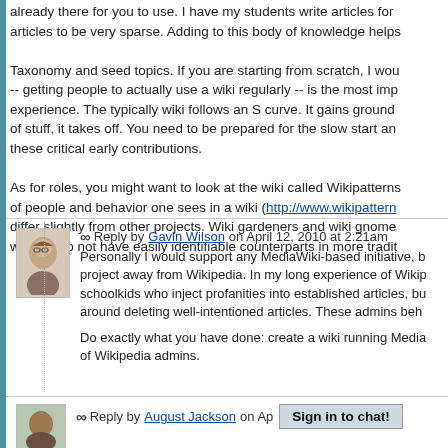already there for you to use. I have my students write articles for articles to be very sparse. Adding to this body of knowledge helps
Taxonomy and seed topics. If you are starting from scratch, I wou -- getting people to actually use a wiki regularly -- is the most imp experience. The typically wiki follows an S curve. It gains ground of stuff, it takes off. You need to be prepared for the slow start an these critical early contributions.
As for roles, you might want to look at the wiki called Wikipatterns of people and behavior one sees in a wiki (http://www.wikipattern differ slightly from other projects. Wiki gardeners and wiki gnome wiki but do not have easily identifiable counterparts in more tradit
Reply by Gavin Wilson on April 12, 2010 at 2:21am
Personally I would support any MediaWiki-based initiative, b project away from Wikipedia. In my long experience of Wikip schoolkids who inject profanities into established articles, bu around deleting well-intentioned articles. These admins beh
Do exactly what you have done: create a wiki running Media of Wikipedia admins.
Reply by August Jackson on Ap
Sign in to chat!